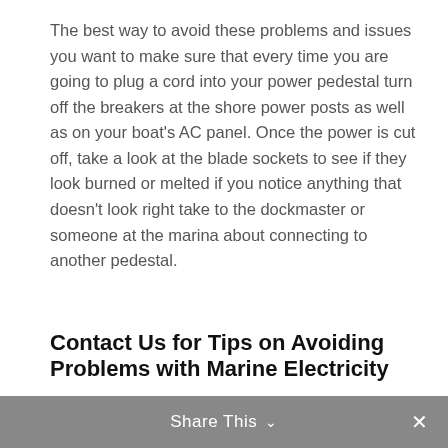The best way to avoid these problems and issues you want to make sure that every time you are going to plug a cord into your power pedestal turn off the breakers at the shore power posts as well as on your boat's AC panel. Once the power is cut off, take a look at the blade sockets to see if they look burned or melted if you notice anything that doesn't look right take to the dockmaster or someone at the marina about connecting to another pedestal.
Contact Us for Tips on Avoiding Problems with Marine Electricity
Share This ∨  ✕